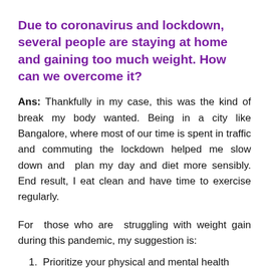Due to coronavirus and lockdown, several people are staying at home and gaining too much weight. How can we overcome it?
Ans: Thankfully in my case, this was the kind of break my body wanted. Being in a city like Bangalore, where most of our time is spent in traffic and commuting the lockdown helped me slow down and plan my day and diet more sensibly. End result, I eat clean and have time to exercise regularly.
For those who are struggling with weight gain during this pandemic, my suggestion is:
1. Prioritize your physical and mental health